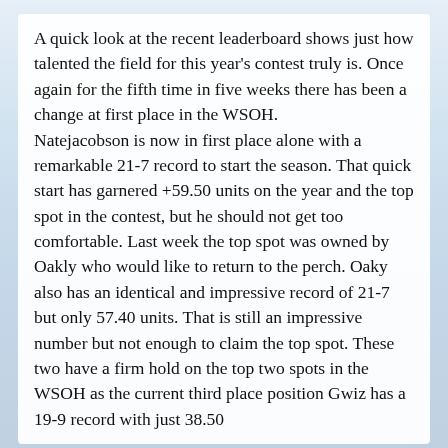A quick look at the recent leaderboard shows just how talented the field for this year's contest truly is. Once again for the fifth time in five weeks there has been a change at first place in the WSOH.
Natejacobson is now in first place alone with a remarkable 21-7 record to start the season. That quick start has garnered +59.50 units on the year and the top spot in the contest, but he should not get too comfortable. Last week the top spot was owned by Oakly who would like to return to the perch. Oaky also has an identical and impressive record of 21-7 but only 57.40 units. That is still an impressive number but not enough to claim the top spot. These two have a firm hold on the top two spots in the WSOH as the current third place position Gwiz has a 19-9 record with just 38.50